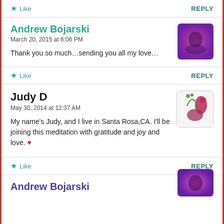★ Like   REPLY
Andrew Bojarski
March 20, 2015 at 6:06 PM
Thank you so much…sending you all my love…
★ Like   REPLY
Judy D
May 30, 2014 at 12:37 AM
My name's Judy, and I live in Santa Rosa,CA. I'll be joining this meditation with gratitude and joy and love. ❤
★ Like   REPLY
Andrew Bojarski